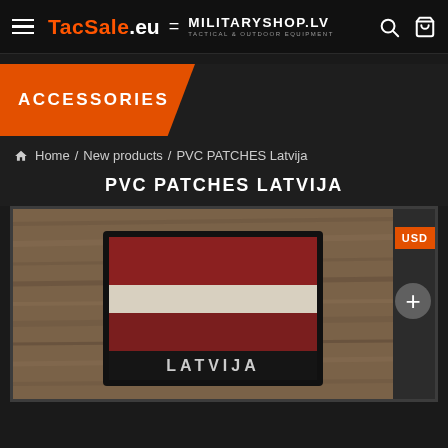TacSale.eu = MILITARYSHOP.LV TACTICAL & OUTDOOR EQUIPMENT
ACCESSORIES
Home / New products / PVC PATCHES Latvija
PVC PATCHES LATVIJA
[Figure (photo): Photo of a PVC patch with the Latvian flag (dark red, white, dark red horizontal stripes) and the text LATVIJA on a wooden background. An orange USD button and a gray plus button are visible on the right side.]